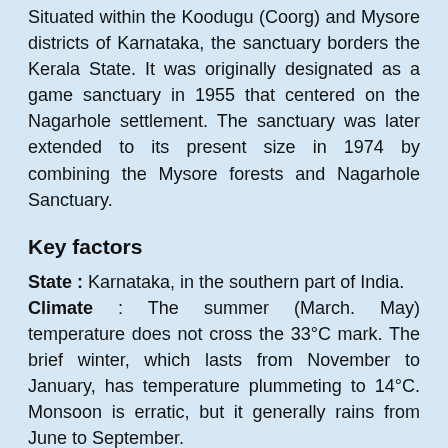Situated within the Koodugu (Coorg) and Mysore districts of Karnataka, the sanctuary borders the Kerala State. It was originally designated as a game sanctuary in 1955 that centered on the Nagarhole settlement. The sanctuary was later extended to its present size in 1974 by combining the Mysore forests and Nagarhole Sanctuary.
Key factors
State : Karnataka, in the southern part of India.
Climate : The summer (March. May) temperature does not cross the 33°C mark. The brief winter, which lasts from November to January, has temperature plummeting to 14°C. Monsoon is erratic, but it generally rains from June to September.
Area : 640 sq km.
Travel Tips : Consult the Doctor before